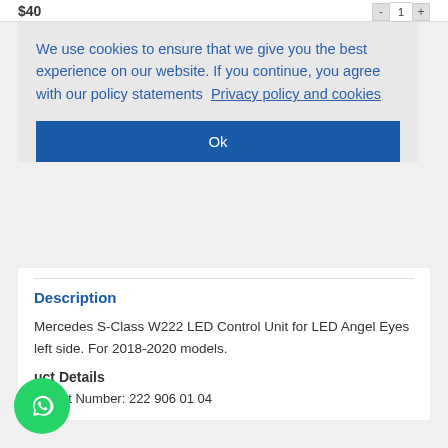$40
We use cookies to ensure that we give you the best experience on our website. If you continue, you agree with our policy statements  Privacy policy and cookies
Ok
Description
Mercedes S-Class W222 LED Control Unit for LED Angel Eyes left side. For 2018-2020 models.
Product Details
Part Number: 222 906 01 04